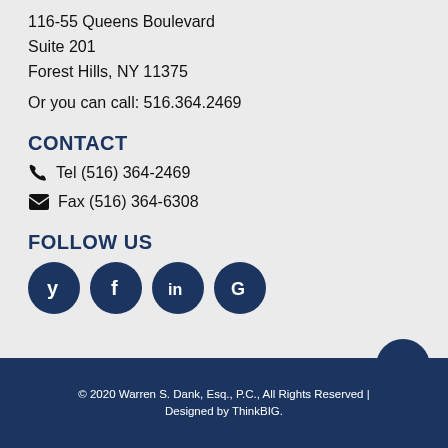116-55 Queens Boulevard
Suite 201
Forest Hills, NY 11375
Or you can call: 516.364.2469
CONTACT
Tel (516) 364-2469
Fax (516) 364-6308
FOLLOW US
[Figure (infographic): Four dark navy circular social media icons: Yelp, Facebook, LinkedIn, Google]
© 2020 Warren S. Dank, Esq., P.C., All Rights Reserved | Designed by ThinkBIG.